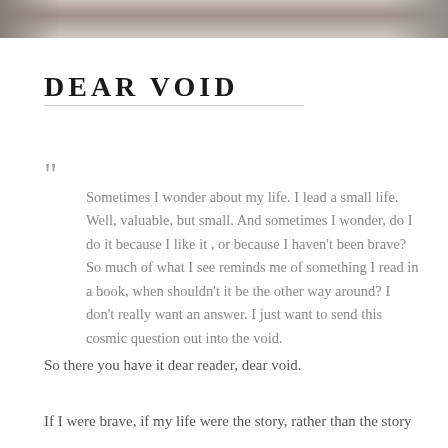[Figure (photo): Partial photo strip at the top of the page showing a textured surface (wood or fabric), cropped to a narrow horizontal band.]
DEAR VOID
“ Sometimes I wonder about my life. I lead a small life. Well, valuable, but small. And sometimes I wonder, do I do it because I like it , or because I haven’t been brave? So much of what I see reminds me of something I read in a book, when shouldn’t it be the other way around? I don’t really want an answer. I just want to send this cosmic question out into the void.
So there you have it dear reader, dear void.
If I were brave, if my life were the story, rather than the story